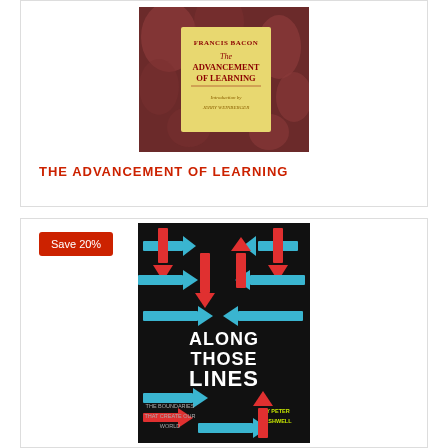[Figure (photo): Book cover of 'The Advancement of Learning' by Francis Bacon, with introduction by Jerry Weinberger. Decorative cover with red/maroon leaf pattern and yellow center panel with book title.]
THE ADVANCEMENT OF LEARNING
Save 20%
[Figure (photo): Book cover of 'Along Those Lines: The Boundaries That Create Our World' by Peter Cashwell. Black background with red and blue arrows in maze-like pattern, white bold title text.]